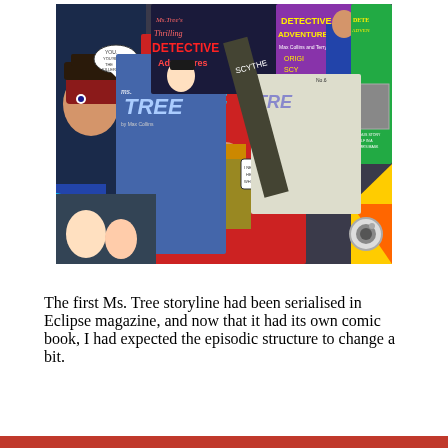[Figure (photo): A collection of Ms. Tree comic books and Detective Adventure magazines spread out, showing multiple colorful covers including 'Thrilling Detective Adventures', 'Ms. Tree', and 'Detective Adventures'. The covers feature noir-style artwork with characters in dramatic poses.]
The first Ms. Tree storyline had been serialised in Eclipse magazine, and now that it had its own comic book, I had expected the episodic structure to change a bit.